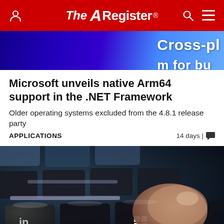The Register
[Figure (screenshot): Partial screenshot showing blue/purple background with text 'Cross-pl' and 'm for bu' visible]
Microsoft unveils native Arm64 support in the .NET Framework
Older operating systems excluded from the 4.8.1 release party
APPLICATIONS    14 days |  💬
[Figure (photo): Close-up photo of a laptop keyboard with Windows key being pressed by a finger. Keys are dark/black, with a blue-gray tone. The Windows logo key is visible in the center-bottom area.]